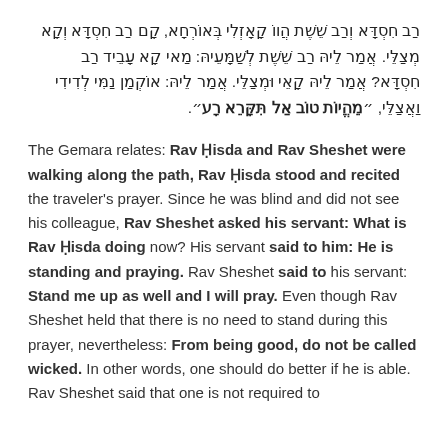רַב חִסְדָּא וְרַב שֵׁשֶׁת הֲווֹ קָאָזְלִי בְּאוֹרְחָא, קָם רַב חִסְדָּא וְקָא מְצַלֵּי. אֲמַר לֵיהּ רַב שֵׁשֶׁת לְשַׁמָּעֵיהּ: מַאי קָא עָבֵיד רַב חִסְדָּא? אֲמַר לֵיהּ קָאֵי וּמְצַלֵּי. אֲמַר לֵיהּ: אוֹקְמַן נַמִּי לְדִידִי וַאֲצַלֵּי. ״מֵהֱיוֹת טוֹב אַל תִּקָּרֵא רָע״.
The Gemara relates: Rav Ḥisda and Rav Sheshet were walking along the path, Rav Ḥisda stood and recited the traveler's prayer. Since he was blind and did not see his colleague, Rav Sheshet asked his servant: What is Rav Ḥisda doing now? His servant said to him: He is standing and praying. Rav Sheshet said to his servant: Stand me up as well and I will pray. Even though Rav Sheshet held that there is no need to stand during this prayer, nevertheless: From being good, do not be called wicked. In other words, one should do better if he is able. Rav Sheshet said that one is not required to